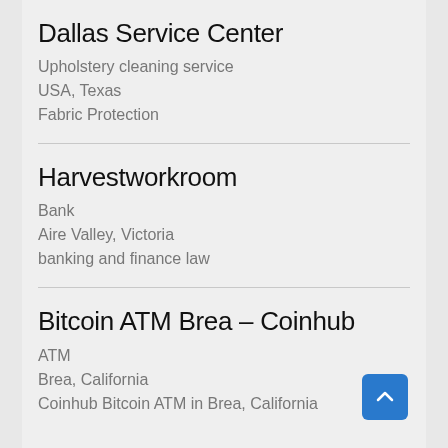Dallas Service Center
Upholstery cleaning service
USA, Texas
Fabric Protection
Harvestworkroom
Bank
Aire Valley, Victoria
banking and finance law
Bitcoin ATM Brea – Coinhub
ATM
Brea, California
Coinhub Bitcoin ATM in Brea, California